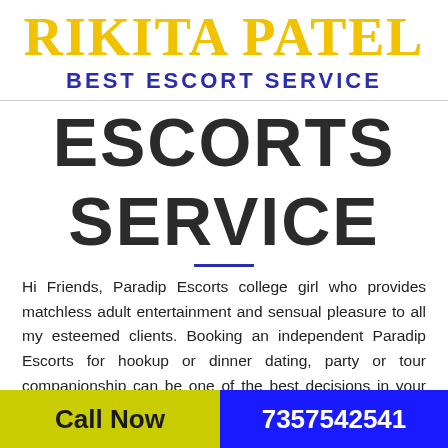RIKITA PATEL
BEST ESCORT SERVICE
ESCORTS SERVICE
Hi Friends, Paradip Escorts college girl who provides matchless adult entertainment and sensual pleasure to all my esteemed clients. Booking an independent Paradip Escorts for hookup or dinner dating, party or tour companionship can be one of the best decisions in your life. Be it multiple orgasms, kinky sex, erotic body
Call Now   7357542541